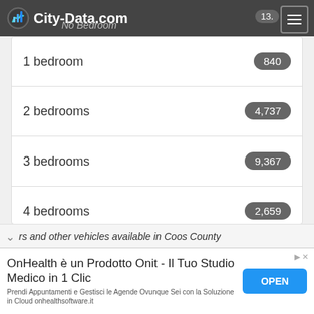City-Data.com
| Category | Count |
| --- | --- |
| 1 bedroom | 840 |
| 2 bedrooms | 4,737 |
| 3 bedrooms | 9,367 |
| 4 bedrooms | 2,659 |
| 5+ bedrooms | 573 |
rs and other vehicles available in Coos County
OnHealth è un Prodotto Onit - Il Tuo Studio Medico in 1 Clic. Prendi Appuntamenti e Gestisci le Agende Ovunque Sei con la Soluzione in Cloud onhealthsoftware.it